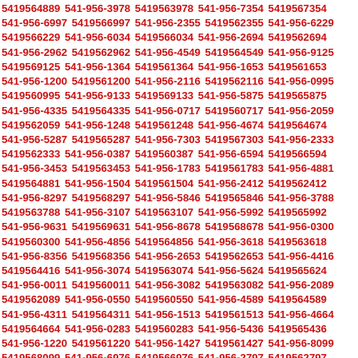5419564889 541-956-3978 5419563978 541-956-7354 5419567354 541-956-6997 5419566997 541-956-2355 5419562355 541-956-6229 5419566229 541-956-6034 5419566034 541-956-2694 5419562694 541-956-2962 5419562962 541-956-4549 5419564549 541-956-9125 5419569125 541-956-1364 5419561364 541-956-1653 5419561653 541-956-1200 5419561200 541-956-2116 5419562116 541-956-0995 5419560995 541-956-9133 5419569133 541-956-5875 5419565875 541-956-4335 5419564335 541-956-0717 5419560717 541-956-2059 5419562059 541-956-1248 5419561248 541-956-4674 5419564674 541-956-5287 5419565287 541-956-7303 5419567303 541-956-2333 5419562333 541-956-0387 5419560387 541-956-6594 5419566594 541-956-3453 5419563453 541-956-1783 5419561783 541-956-4881 5419564881 541-956-1504 5419561504 541-956-2412 5419562412 541-956-8297 5419568297 541-956-5846 5419565846 541-956-3788 5419563788 541-956-3107 5419563107 541-956-5992 5419565992 541-956-9631 5419569631 541-956-8678 5419568678 541-956-0300 5419560300 541-956-4856 5419564856 541-956-3618 5419563618 541-956-8356 5419568356 541-956-2653 5419562653 541-956-4416 5419564416 541-956-3074 5419563074 541-956-5624 5419565624 541-956-0011 5419560011 541-956-3082 5419563082 541-956-2089 5419562089 541-956-0550 5419560550 541-956-4589 5419564589 541-956-4311 5419564311 541-956-1513 5419561513 541-956-4664 5419564664 541-956-0283 5419560283 541-956-5436 5419565436 541-956-1220 5419561220 541-956-1427 5419561427 541-956-8099 5419568099 541-956-6976 5419566976 541-956-2797 5419562797